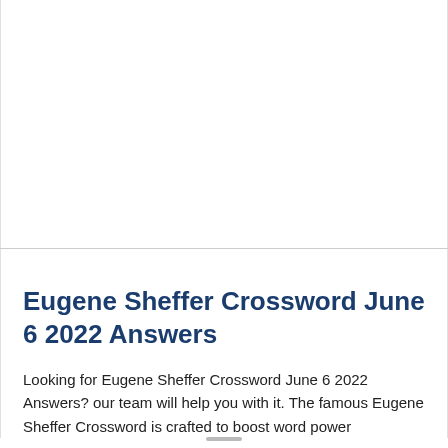Eugene Sheffer Crossword June 6 2022 Answers
Looking for Eugene Sheffer Crossword June 6 2022 Answers? our team will help you with it. The famous Eugene Sheffer Crossword is crafted to boost word power